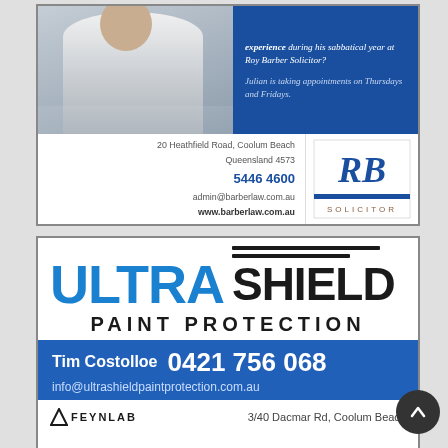[Figure (advertisement): Roy Barber Solicitor advertisement with photo of man in suit, blue panel with text about experience during sabbatical year, address 20 Heathfield Road Coolum Beach Queensland 4573, phone 5446 4600, email admin@barberlaw.com.au, website www.barberlaw.com.au, and RB Solicitor logo]
[Figure (advertisement): Ultra Shield Paint Protection advertisement with large blue ULTRA and black SHIELD text, PAINT PROTECTION tagline, contact Tim Costolloe 0421 756 068, info@ultrashieldpaintprotection.com.au, Feynlab logo, address 3/40 Dacmar Rd Coolum Beach]